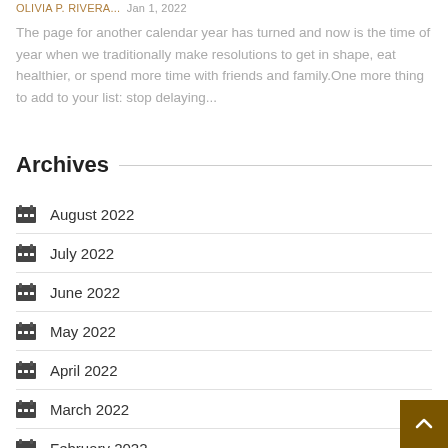OLIVIA P. RIVERA... · Jan 1, 2022
The page for another calendar year has turned and now is the time of year when we traditionally make resolutions to get in shape, eat healthier, or spend more time with friends and family.One more thing to add to your list: stop delaying...
Archives
August 2022
July 2022
June 2022
May 2022
April 2022
March 2022
February 2022